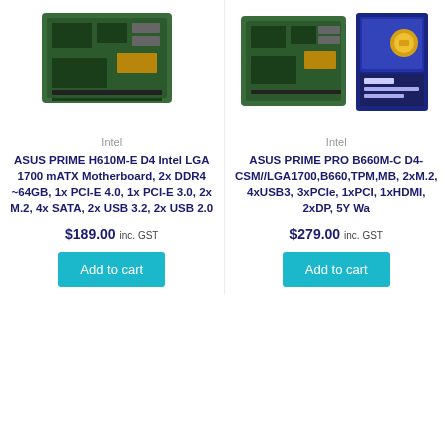[Figure (photo): Product image of ASUS PRIME H610M-E D4 motherboard (partially visible, cropped at top)]
[Figure (photo): Product image of ASUS PRIME PRO B660M-C D4 motherboard and box (partially visible, cropped at top)]
Intel
Intel
ASUS PRIME H610M-E D4 Intel LGA 1700 mATX Motherboard, 2x DDR4 ~64GB, 1x PCI-E 4.0, 1x PCI-E 3.0, 2x M.2, 4x SATA, 2x USB 3.2, 2x USB 2.0
ASUS PRIME PRO B660M-C D4-CSM//LGA1700,B660,TPM,MB, 2xM.2, 4xUSB3, 3xPCIe, 1xPCI, 1xHDMI, 2xDP, 5Y Wa
$189.00 inc. GST
$279.00 inc. GST
Add to cart
Add to cart